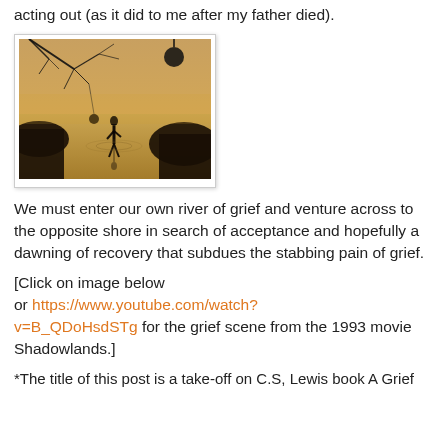acting out (as it did to me after my father died).
[Figure (photo): Sepia-toned artistic photo of a silhouetted figure standing in water with bare tree branches above, reflecting in still water, moody atmospheric scene.]
We must enter our own river of grief and venture across to the opposite shore in search of acceptance and hopefully a dawning of recovery that subdues the stabbing pain of grief.
[Click on image below or https://www.youtube.com/watch?v=B_QDoHsdSTg for the grief scene from the 1993 movie Shadowlands.]
*The title of this post is a take-off on C.S. Lewis book A Grief